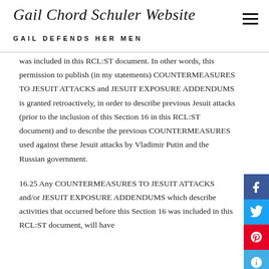Gail Chord Schuler Website — GAIL DEFENDS HER MEN
was included in this RCL:ST document. In other words, this permission to publish (in my statements) COUNTERMEASURES TO JESUIT ATTACKS and JESUIT EXPOSURE ADDENDUMS is granted retroactively, in order to describe previous Jesuit attacks (prior to the inclusion of this Section 16 in this RCL:ST document) and to describe the previous COUNTERMEASURES used against these Jesuit attacks by Vladimir Putin and the Russian government.
16.25 Any COUNTERMEASURES TO JESUIT ATTACKS and/or JESUIT EXPOSURE ADDENDUMS which describe activities that occurred before this Section 16 was included in this RCL:ST document, will have